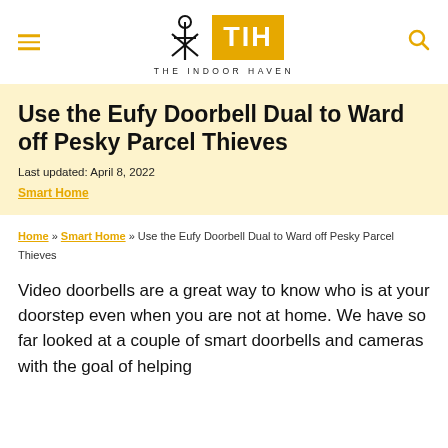THE INDOOR HAVEN
Use the Eufy Doorbell Dual to Ward off Pesky Parcel Thieves
Last updated: April 8, 2022
Smart Home
Home » Smart Home » Use the Eufy Doorbell Dual to Ward off Pesky Parcel Thieves
Video doorbells are a great way to know who is at your doorstep even when you are not at home. We have so far looked at a couple of smart doorbells and cameras with the goal of helping